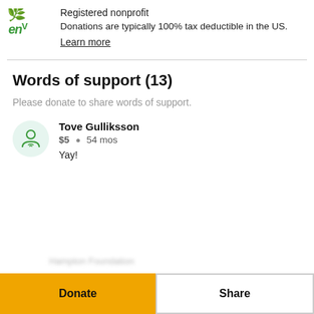[Figure (logo): Greenwave Organization Corp logo with green leaf icon and 'enV' text in green]
Registered nonprofit
Donations are typically 100% tax deductible in the US.
Learn more
Words of support (13)
Please donate to share words of support.
Tove Gulliksson
$5 • 54 mos
Yay!
Donate
Share